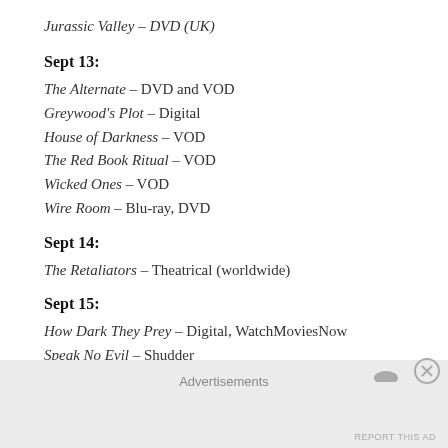Jurassic Valley – DVD (UK)
Sept 13:
The Alternate – DVD and VOD
Greywood's Plot – Digital
House of Darkness – VOD
The Red Book Ritual – VOD
Wicked Ones – VOD
Wire Room – Blu-ray, DVD
Sept 14:
The Retaliators – Theatrical (worldwide)
Sept 15:
How Dark They Prey – Digital, WatchMoviesNow
Speak No Evil – Shudder
Advertisements